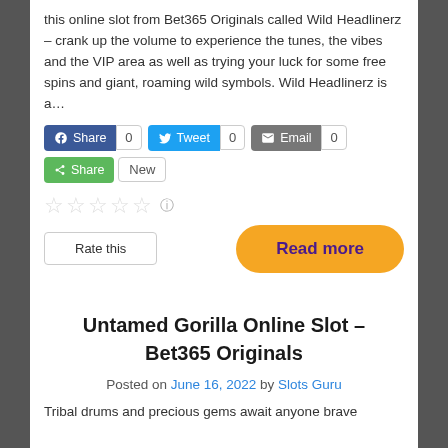this online slot from Bet365 Originals called Wild Headlinerz – crank up the volume to experience the tunes, the vibes and the VIP area as well as trying your luck for some free spins and giant, roaming wild symbols. Wild Headlinerz is a…
[Figure (infographic): Social sharing buttons: Facebook Share (0), Twitter Tweet (0), Email (0), green Share button (New)]
[Figure (infographic): Star rating row (5 empty stars with info icon) and Rate this button alongside a Read more orange button]
Untamed Gorilla Online Slot – Bet365 Originals
Posted on June 16, 2022 by Slots Guru
Tribal drums and precious gems await anyone brave